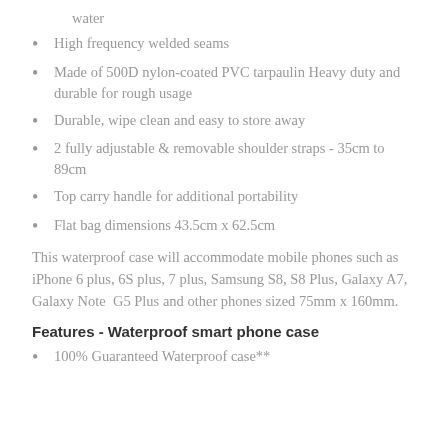water
High frequency welded seams
Made of 500D nylon-coated PVC tarpaulin Heavy duty and durable for rough usage
Durable, wipe clean and easy to store away
2 fully adjustable & removable shoulder straps - 35cm to 89cm
Top carry handle for additional portability
Flat bag dimensions 43.5cm x 62.5cm
This waterproof case will accommodate mobile phones such as iPhone 6 plus, 6S plus, 7 plus, Samsung S8, S8 Plus, Galaxy A7, Galaxy Note  G5 Plus and other phones sized 75mm x 160mm.
Features - Waterproof smart phone case
100% Guaranteed Waterproof case**